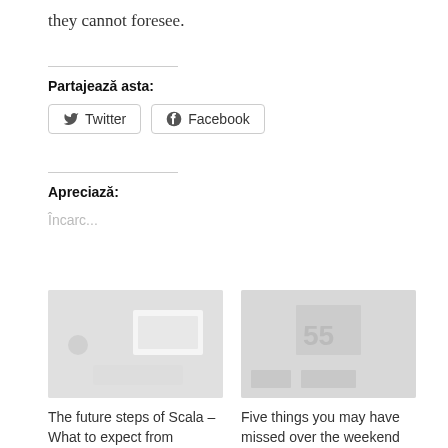they cannot foresee.
Partajează asta:
[Figure (other): Twitter and Facebook share buttons]
Apreciază:
Încarc...
[Figure (photo): Thumbnail image for 'The future steps of Scala – What to expect from upcoming releases']
The future steps of Scala – What to expect from upcoming releases
[Figure (photo): Thumbnail image for 'Five things you may have missed over the weekend']
Five things you may have missed over the weekend
28 octombrie 2019